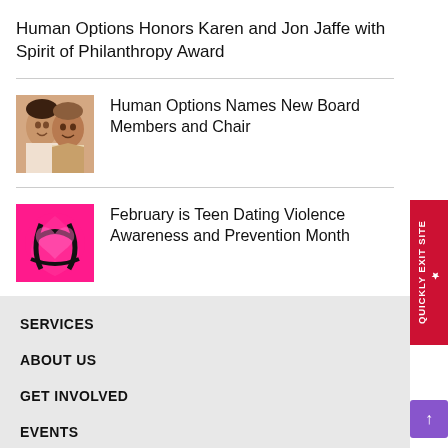Human Options Honors Karen and Jon Jaffe with Spirit of Philanthropy Award
Human Options Names New Board Members and Chair
[Figure (photo): Two women smiling, one in a white top and one in a blazer]
February is Teen Dating Violence Awareness and Prevention Month
[Figure (photo): Pink and black graphic with a heart shape, related to Teen Dating Violence Awareness]
SERVICES
ABOUT US
GET INVOLVED
EVENTS